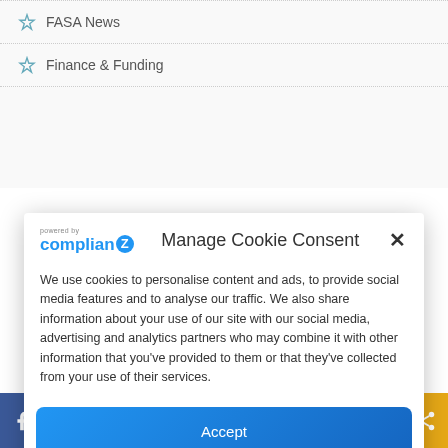FASA News
Finance & Funding
Manage Cookie Consent
We use cookies to personalise content and ads, to provide social media features and to analyse our traffic. We also share information about your use of our site with our social media, advertising and analytics partners who may combine it with other information that you've provided to them or that they've collected from your use of their services.
Accept
Deny
[Figure (screenshot): Social media sharing bar with icons for Facebook, Twitter, LinkedIn, Pinterest, Reddit, WhatsApp, Flipboard, Email, Telegram, and a share button]